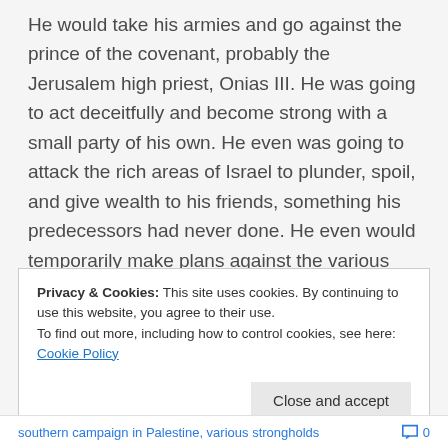He would take his armies and go against the prince of the covenant, probably the Jerusalem high priest, Onias III. He was going to act deceitfully and become strong with a small party of his own. He even was going to attack the rich areas of Israel to plunder, spoil, and give wealth to his friends, something his predecessors had never done. He even would temporarily make plans against the various strongholds.
Privacy & Cookies: This site uses cookies. By continuing to use this website, you agree to their use. To find out more, including how to control cookies, see here: Cookie Policy
Close and accept
southern campaign in Palestine, various strongholds   0